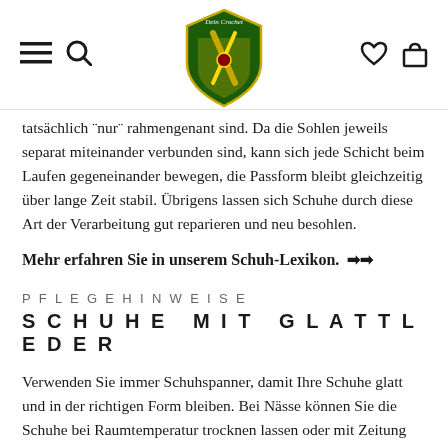[Navigation header with hamburger menu, search icon, logo 'Dein Crochet', heart icon, and bag icon]
tatsächlich "nur" rahmengenant sind. Da die Sohlen jeweils separat miteinander verbunden sind, kann sich jede Schicht beim Laufen gegeneinander bewegen, die Passform bleibt gleichzeitig über lange Zeit stabil. Übrigens lassen sich Schuhe durch diese Art der Verarbeitung gut reparieren und neu besohlen.
Mehr erfahren Sie in unserem Schuh-Lexikon. ➡➡
PFLEGEHINWEISE
SCHUHE MIT GLATTLEDER
Verwenden Sie immer Schuhspanner, damit Ihre Schuhe glatt und in der richtigen Form bleiben. Bei Nässe können Sie die Schuhe bei Raumtemperatur trocknen lassen oder mit Zeitung ausstopfen. Achten Sie darauf die Schuhe niemals vor den Kamin, Heizofen oder auf die Heizung, da